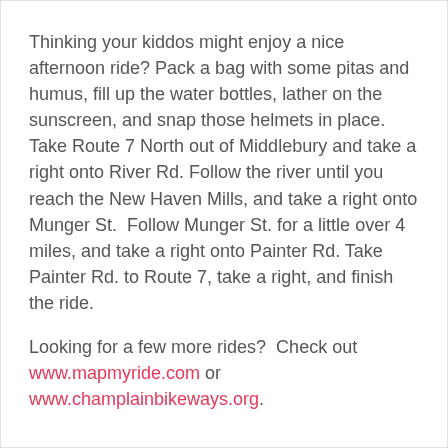Thinking your kiddos might enjoy a nice afternoon ride? Pack a bag with some pitas and humus, fill up the water bottles, lather on the sunscreen, and snap those helmets in place.  Take Route 7 North out of Middlebury and take a right onto River Rd. Follow the river until you reach the New Haven Mills, and take a right onto Munger St.  Follow Munger St. for a little over 4 miles, and take a right onto Painter Rd. Take Painter Rd. to Route 7, take a right, and finish the ride.
Looking for a few more rides?  Check out www.mapmyride.com or www.champlainbikeways.org.